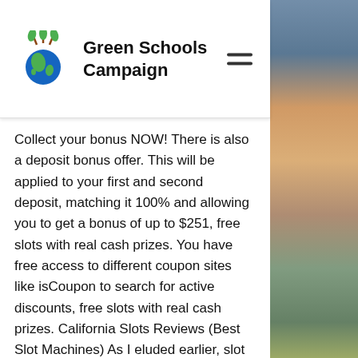Green Schools Campaign
Collect your bonus NOW! There is also a deposit bonus offer. This will be applied to your first and second deposit, matching it 100% and allowing you to get a bonus of up to $251, free slots with real cash prizes. You have free access to different coupon sites like isCoupon to search for active discounts, free slots with real cash prizes. California Slots Reviews (Best Slot Machines) As I eluded earlier, slot machines in California payout much like casinos in other parts of the country. The players obviously want to get the highest RTP available, free slots with real cash prizes. That will both extend their bankroll and increase their chances of occasionally winning a little cash. The casinos need to offer the best RTP because California is